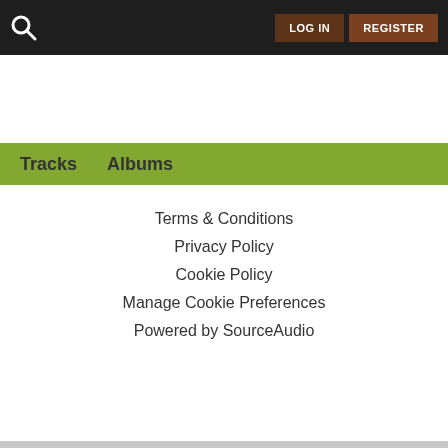LOG IN  REGISTER
Tracks   Albums
Terms & Conditions
Privacy Policy
Cookie Policy
Manage Cookie Preferences
Powered by SourceAudio